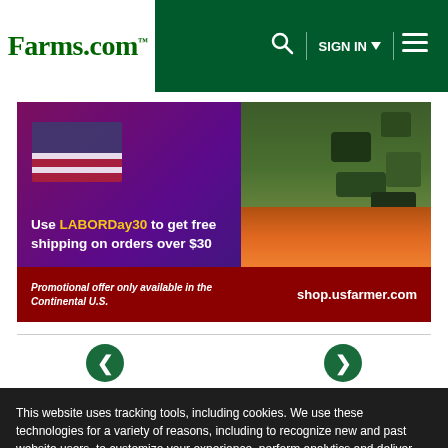Farms.com | SIGN IN | Navigation menu
[Figure (photo): Advertisement banner for shop.usfarmer.com featuring American flag, camouflage clothing, promo code LABORDay30 for free shipping on orders over $30, promotional offer only available in the Continental U.S.]
This website uses tracking tools, including cookies. We use these technologies for a variety of reasons, including to recognize new and past website users, to customize your experience, perform analytics and deliver personalized advertising on our sites, apps and newsletters and across the Internet based on your interests. You agree to our Privacy Policy and Terms of Access by clicking I agree.